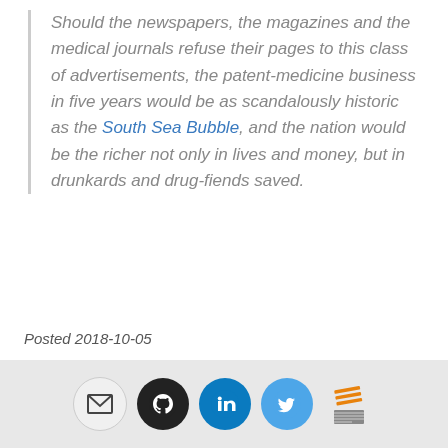Should the newspapers, the magazines and the medical journals refuse their pages to this class of advertisements, the patent-medicine business in five years would be as scandalously historic as the South Sea Bubble, and the nation would be the richer not only in lives and money, but in drunkards and drug-fiends saved.
Posted 2018-10-05
old-shit   us-politics
[Figure (infographic): Footer bar with social media icons: email envelope, GitHub, LinkedIn, Twitter, Stack Overflow]